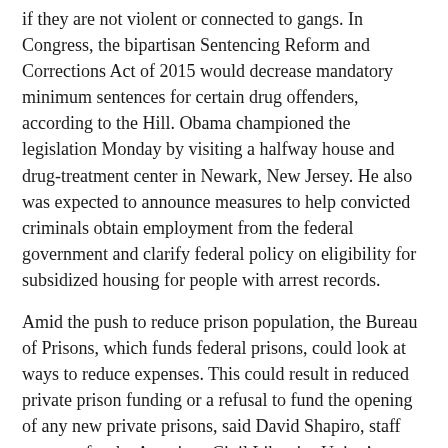if they are not violent or connected to gangs. In Congress, the bipartisan Sentencing Reform and Corrections Act of 2015 would decrease mandatory minimum sentences for certain drug offenders, according to the Hill. Obama championed the legislation Monday by visiting a halfway house and drug-treatment center in Newark, New Jersey. He also was expected to announce measures to help convicted criminals obtain employment from the federal government and clarify federal policy on eligibility for subsidized housing for people with arrest records.
Amid the push to reduce prison population, the Bureau of Prisons, which funds federal prisons, could look at ways to reduce expenses. This could result in reduced private prison funding or a refusal to fund the opening of any new private prisons, said David Shapiro, staff attorney for the American Civil Liberties Union's National Prison Project and a law professor at Northwestern University in Evanston, Illinois.
“[Private prisons] have been living off the government’s largesse in an era of mass incarceration, and they may not be getting the same paycheck from big government they’ve always gotten,” Shapiro said.
Each prisoner adds to the bottom line. In most cases, private prisons get paid for the number of prisoners they house, said Alex Friedmann, associate director of Human Rights Defense Center, in Lake Worth, Florida.